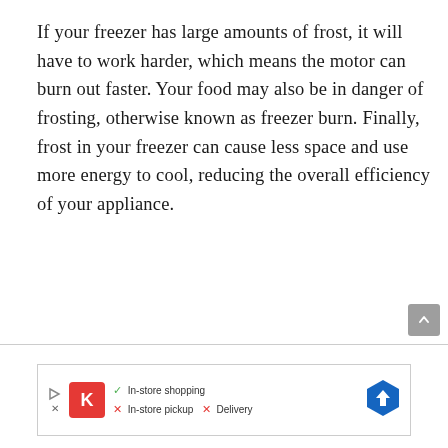If your freezer has large amounts of frost, it will have to work harder, which means the motor can burn out faster. Your food may also be in danger of frosting, otherwise known as freezer burn. Finally, frost in your freezer can cause less space and use more energy to cool, reducing the overall efficiency of your appliance.
[Figure (other): Advertisement banner with store logo (red square with K), navigation icon (blue diamond with arrow), and text: checkmark In-store shopping, X In-store pickup, X Delivery]